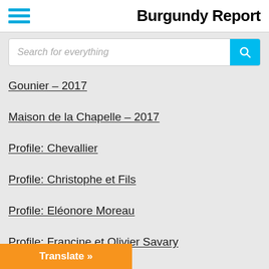Burgundy Report
Search for everything
Gounier – 2017
Maison de la Chapelle – 2017
Profile: Chevallier
Profile: Christophe et Fils
Profile: Eléonore Moreau
Profile: Francine et Olivier Savary
Profile: Guy et Olivier Alexandre
Pr... audet
Translate »